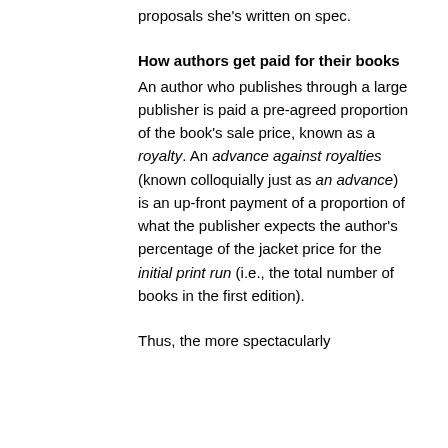proposals she's written on spec.
How authors get paid for their books
An author who publishes through a large publisher is paid a pre-agreed proportion of the book's sale price, known as a royalty. An advance against royalties (known colloquially just as an advance) is an up-front payment of a proportion of what the publisher expects the author's percentage of the jacket price for the initial print run (i.e., the total number of books in the first edition).
Thus, the more spectacularly